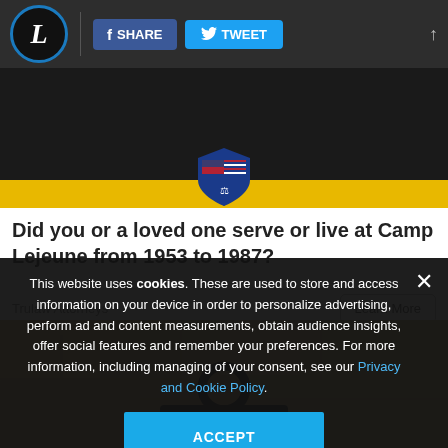L | SHARE | TWEET
[Figure (photo): Advertisement image showing a US military/legal shield logo on a yellow bar background, partially visible at top]
Did you or a loved one serve or live at Camp Lejeune from 1953 to 1987?
Trulaw Attorneys   Learn More
[Figure (photo): Close-up photo of a gun/rifle part showing a ring sight against a sandy/beige stone wall background]
This website uses cookies. These are used to store and access information on your device in order to personalize advertising, perform ad and content measurements, obtain audience insights, offer social features and remember your preferences. For more information, including managing of your consent, see our Privacy and Cookie Policy.
ACCEPT